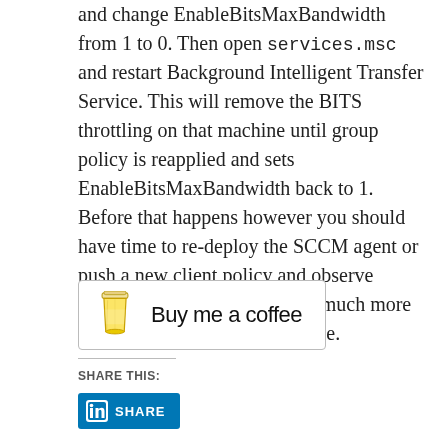and change EnableBitsMaxBandwidth from 1 to 0. Then open services.msc and restart Background Intelligent Transfer Service. This will remove the BITS throttling on that machine until group policy is reapplied and sets EnableBitsMaxBandwidth back to 1. Before that happens however you should have time to re-deploy the SCCM agent or push a new client policy and observe whether or not it happens in a much more timely fashion than it did before.
[Figure (other): Buy me a coffee button with a yellow coffee cup icon and handwritten-style text reading 'Buy me a coffee']
SHARE THIS:
[Figure (other): LinkedIn Share button — blue button with LinkedIn 'in' logo and text SHARE]